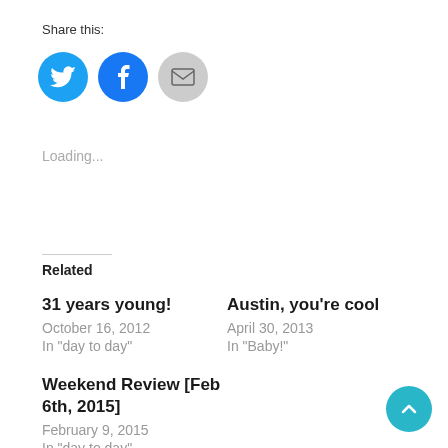Share this:
[Figure (other): Social sharing icons: Twitter (blue circle), Facebook (blue circle), Email (gray circle)]
Loading...
Related
31 years young!
October 16, 2012
In "day to day"
Austin, you're cool
April 30, 2013
In "Baby!"
Weekend Review [Feb 6th, 2015]
February 9, 2015
In "day to day"